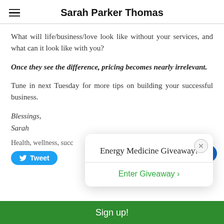Sarah Parker Thomas
What will life/business/love look like without your services, and what can it look like with you?
Once they see the difference, pricing becomes nearly irrelevant.
Tune in next Tuesday for more tips on building your successful business.
Blessings,
Sarah
Health, wellness, succ…
[Figure (screenshot): Energy Medicine Giveaway popup with Enter Giveaway link and close button]
Sign up!